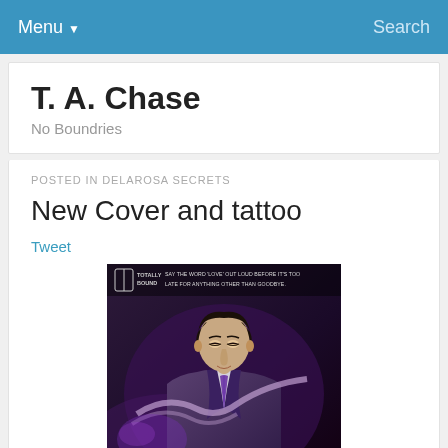Menu ▼   Search
T. A. Chase
No Boundries
POSTED IN DELAROSA SECRETS
New Cover and tattoo
Tweet
[Figure (photo): Book cover for 'Delarosa Secrets' published by Totally Bound. Shows a man in a suit with the tagline 'Say the word love out loud before it's too late for anything other than goodbye.' The word 'DELAROSA' appears at the bottom.]